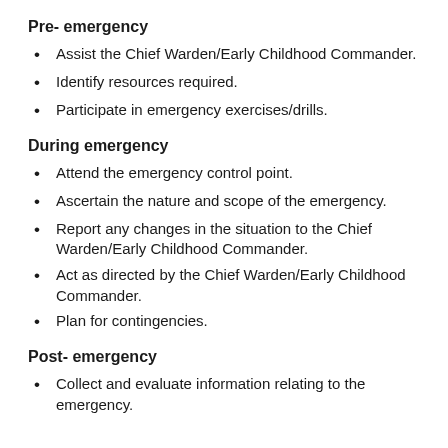Pre- emergency
Assist the Chief Warden/Early Childhood Commander.
Identify resources required.
Participate in emergency exercises/drills.
During emergency
Attend the emergency control point.
Ascertain the nature and scope of the emergency.
Report any changes in the situation to the Chief Warden/Early Childhood Commander.
Act as directed by the Chief Warden/Early Childhood Commander.
Plan for contingencies.
Post- emergency
Collect and evaluate information relating to the emergency.